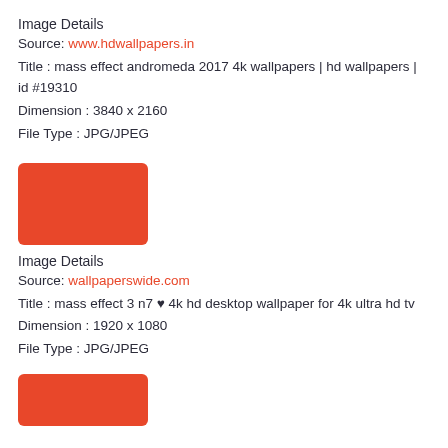Image Details
Source: www.hdwallpapers.in
Title : mass effect andromeda 2017 4k wallpapers | hd wallpapers | id #19310
Dimension : 3840 x 2160
File Type : JPG/JPEG
[Figure (photo): Red/orange thumbnail placeholder image]
Image Details
Source: wallpaperswide.com
Title : mass effect 3 n7 ♥ 4k hd desktop wallpaper for 4k ultra hd tv
Dimension : 1920 x 1080
File Type : JPG/JPEG
[Figure (photo): Red/orange thumbnail placeholder image (partially visible)]